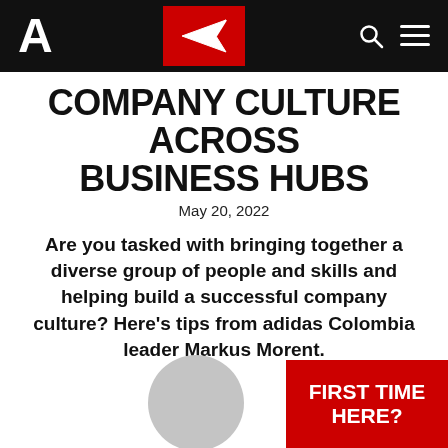A [logo] | [paper plane icon] | [search icon] | [menu icon]
COMPANY CULTURE ACROSS BUSINESS HUBS
May 20, 2022
Are you tasked with bringing together a diverse group of people and skills and helping build a successful company culture? Here's tips from adidas Colombia leader Markus Morent.
[Figure (illustration): Gray circular avatar placeholder]
[Figure (infographic): Red box with white bold text: FIRST TIME HERE?]